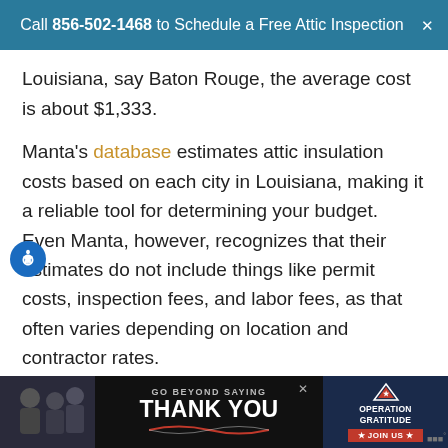Call 856-502-1468 to Schedule a Free Attic Inspection
Louisiana, say Baton Rouge, the average cost is about $1,333.
Manta's database estimates attic insulation costs based on each city in Louisiana, making it a reliable tool for determining your budget. Even Manta, however, recognizes that their estimates do not include things like permit costs, inspection fees, and labor fees, as that often varies depending on location and contractor rates.
[Figure (infographic): GO BEYOND SAYING THANK YOU - Operation Gratitude JOIN US advertisement banner at bottom of page]